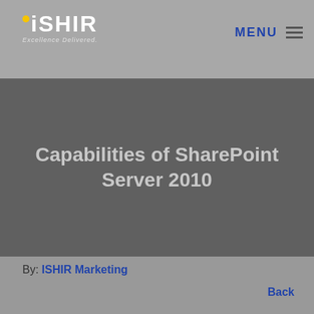ISHIR Excellence Delivered. | MENU
Capabilities of SharePoint Server 2010
By: ISHIR Marketing
Back